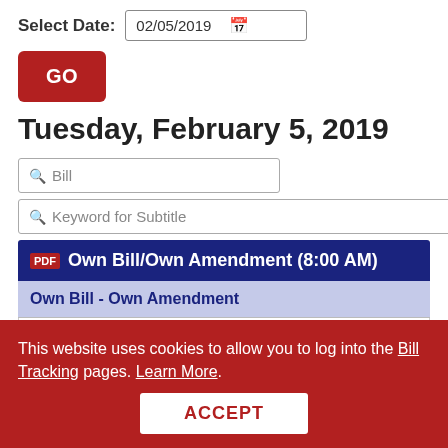Select Date: 02/05/2019
GO
Tuesday, February 5, 2019
Bill
Keyword for Subtitle
Own Bill/Own Amendment (8:00 AM)
Own Bill - Own Amendment
SB149
This website uses cookies to allow you to log into the Bill Tracking pages. Learn More.
ACCEPT